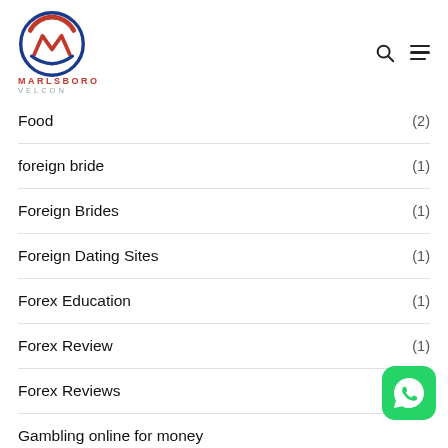[Figure (logo): Marlsboro Velcon logo with circular M emblem in red and blue, company name MARLSBORO in red, VELCON in grey]
Food (2)
foreign bride (1)
Foreign Brides (1)
Foreign Dating Sites (1)
Forex Education (1)
Forex Review (1)
Forex Reviews (1)
Gambling online for money
[Figure (logo): WhatsApp green icon button]